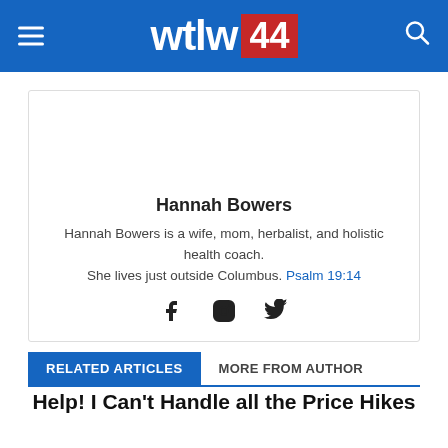wtlw 44
Hannah Bowers
Hannah Bowers is a wife, mom, herbalist, and holistic health coach. She lives just outside Columbus. Psalm 19:14
[Figure (other): Social media icons: Facebook, Instagram, Twitter]
RELATED ARTICLES   MORE FROM AUTHOR
Help! I Can't Handle all the Price Hikes